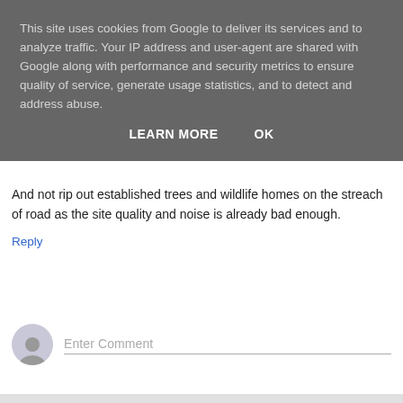This site uses cookies from Google to deliver its services and to analyze traffic. Your IP address and user-agent are shared with Google along with performance and security metrics to ensure quality of service, generate usage statistics, and to detect and address abuse.
LEARN MORE   OK
And not rip out established trees and wildlife homes on the streach of road as the site quality and noise is already bad enough.
Reply
Enter Comment